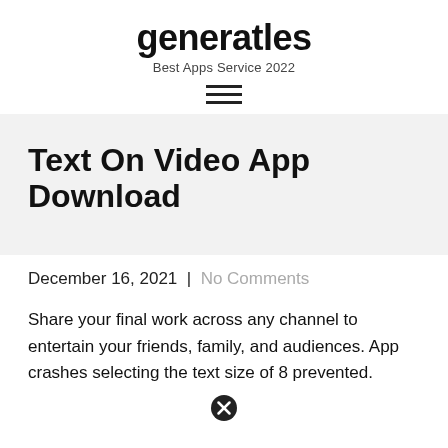generatles
Best Apps Service 2022
Text On Video App Download
December 16, 2021  |  No Comments
Share your final work across any channel to entertain your friends, family, and audiences. App crashes selecting the text size of 8 prevented.